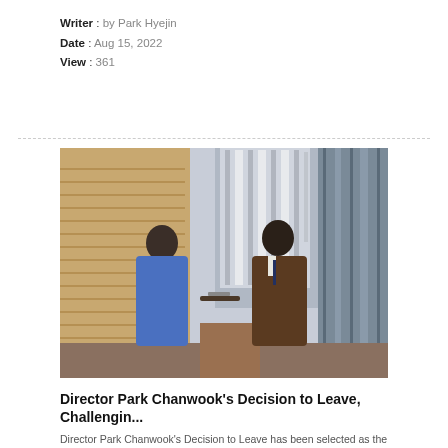Writer : by Park Hyejin
Date : Aug 15, 2022
View : 361
[Figure (photo): Two people facing each other in an interior space with large windows and blinds; a woman in a blue outfit on the left and a man in a brown suit on the right, appearing to exchange an object.]
Director Park Chanwook's Decision to Leave, Challengin...
Director Park Chanwook's Decision to Leave has been selected as the representative entry for Korean films at the 95th Academy International